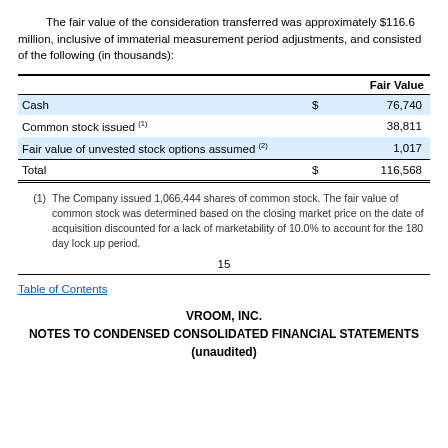The fair value of the consideration transferred was approximately $116.6 million, inclusive of immaterial measurement period adjustments, and consisted of the following (in thousands):
|  | Fair Value |  |
| --- | --- | --- |
| Cash | $ | 76,740 |
| Common stock issued (1) |  | 38,811 |
| Fair value of unvested stock options assumed (2) |  | 1,017 |
| Total | $ | 116,568 |
(1) The Company issued 1,066,444 shares of common stock. The fair value of common stock was determined based on the closing market price on the date of acquisition discounted for a lack of marketability of 10.0% to account for the 180 day lock up period.
15
Table of Contents
VROOM, INC.
NOTES TO CONDENSED CONSOLIDATED FINANCIAL STATEMENTS
(unaudited)